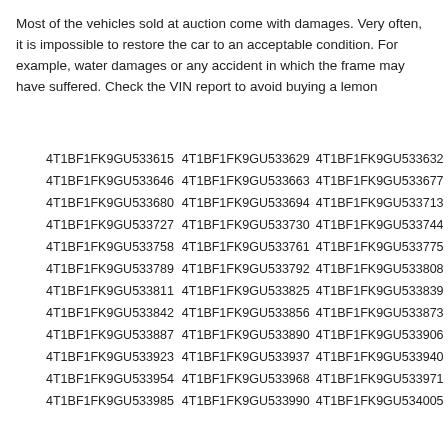Most of the vehicles sold at auction come with damages. Very often, it is impossible to restore the car to an acceptable condition. For example, water damages or any accident in which the frame may have suffered. Check the VIN report to avoid buying a lemon
| 4T1BF1FK9GU533615 | 4T1BF1FK9GU533629 | 4T1BF1FK9GU533632 |
| 4T1BF1FK9GU533646 | 4T1BF1FK9GU533663 | 4T1BF1FK9GU533677 |
| 4T1BF1FK9GU533680 | 4T1BF1FK9GU533694 | 4T1BF1FK9GU533713 |
| 4T1BF1FK9GU533727 | 4T1BF1FK9GU533730 | 4T1BF1FK9GU533744 |
| 4T1BF1FK9GU533758 | 4T1BF1FK9GU533761 | 4T1BF1FK9GU533775 |
| 4T1BF1FK9GU533789 | 4T1BF1FK9GU533792 | 4T1BF1FK9GU533808 |
| 4T1BF1FK9GU533811 | 4T1BF1FK9GU533825 | 4T1BF1FK9GU533839 |
| 4T1BF1FK9GU533842 | 4T1BF1FK9GU533856 | 4T1BF1FK9GU533873 |
| 4T1BF1FK9GU533887 | 4T1BF1FK9GU533890 | 4T1BF1FK9GU533906 |
| 4T1BF1FK9GU533923 | 4T1BF1FK9GU533937 | 4T1BF1FK9GU533940 |
| 4T1BF1FK9GU533954 | 4T1BF1FK9GU533968 | 4T1BF1FK9GU533971 |
| 4T1BF1FK9GU533985 | 4T1BF1FK9GU533990 | 4T1BF1FK9GU534005 |